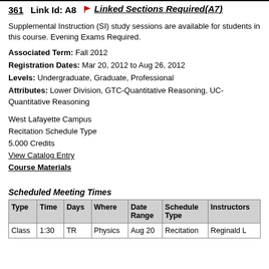361  Link Id: A8  Linked Sections Required(A7)
Supplemental Instruction (SI) study sessions are available for students in this course. Evening Exams Required.
Associated Term: Fall 2012
Registration Dates: Mar 20, 2012 to Aug 26, 2012
Levels: Undergraduate, Graduate, Professional
Attributes: Lower Division, GTC-Quantitative Reasoning, UC-Quantitative Reasoning
West Lafayette Campus
Recitation Schedule Type
5.000 Credits
View Catalog Entry
Course Materials
Scheduled Meeting Times
| Type | Time | Days | Where | Date Range | Schedule Type | Instructors |
| --- | --- | --- | --- | --- | --- | --- |
| Class | 1:30 | TR | Physics | Aug 20 | Recitation | Reginald L |